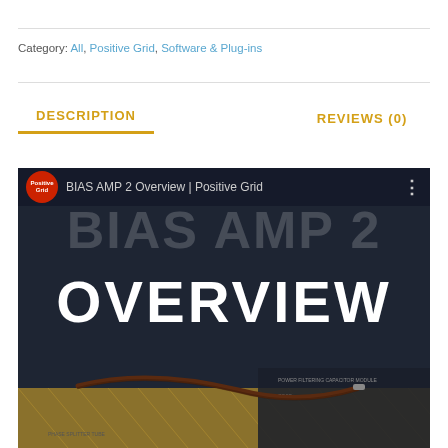Category: All, Positive Grid, Software & Plug-ins
DESCRIPTION
REVIEWS (0)
[Figure (screenshot): Video thumbnail for 'BIAS AMP 2 Overview | Positive Grid' showing the Positive Grid logo (red circle), the title text, and large 'BIAS AMP 2 OVERVIEW' text on a dark background with amp hardware at the bottom.]